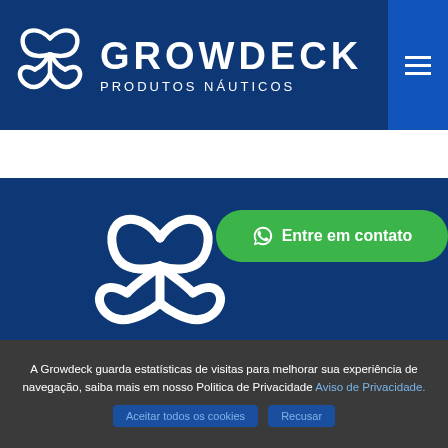[Figure (logo): Growdeck Produtos Náuticos logo with white decorative knot/leaf icon and company name on dark blue background, with hamburger menu button on right]
[Figure (screenshot): White horizontal band below header, followed by dark blue section with large white Growdeck logo icon and green WhatsApp contact button reading 'Entre em contato']
A Growdeck guarda estatísticas de visitas para melhorar sua experiência de navegação, saiba mais em nosso Politica de Privacidade Aviso de Privacidade.
Aceitar todos os cookies   Recusar